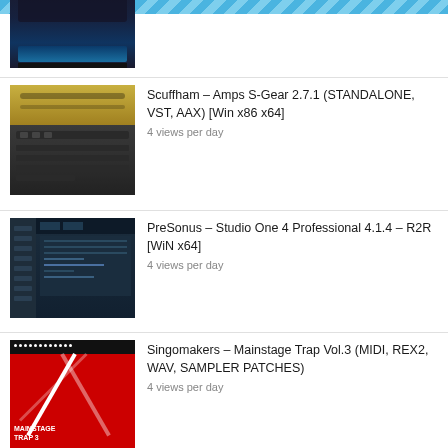[Figure (screenshot): Partial thumbnail of a software instrument plugin with dark background and keyboard at bottom]
[Figure (screenshot): Thumbnail of Scuffham Amps S-Gear plugin showing guitar amp UI]
Scuffham – Amps S-Gear 2.7.1 (STANDALONE, VST, AAX) [Win x86 x64]
4 views per day
[Figure (screenshot): Thumbnail of PreSonus Studio One 4 Professional DAW interface]
PreSonus – Studio One 4 Professional 4.1.4 – R2R [WiN x64]
4 views per day
[Figure (screenshot): Thumbnail of Singomakers Mainstage Trap Vol.3 product with red and black design]
Singomakers – Mainstage Trap Vol.3 (MIDI, REX2, WAV, SAMPLER PATCHES)
4 views per day